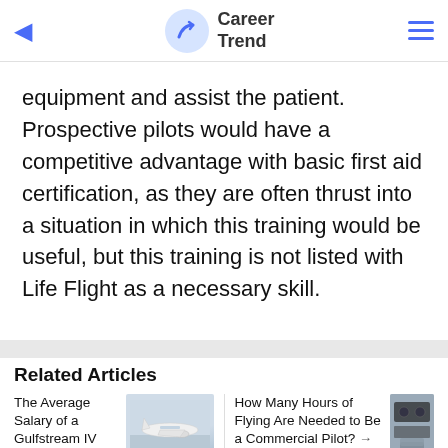Career Trend
equipment and assist the patient. Prospective pilots would have a competitive advantage with basic first aid certification, as they are often thrust into a situation in which this training would be useful, but this training is not listed with Life Flight as a necessary skill.
Related Articles
The Average Salary of a Gulfstream IV Pilot →
How Many Hours of Flying Are Needed to Be a Commercial Pilot? →